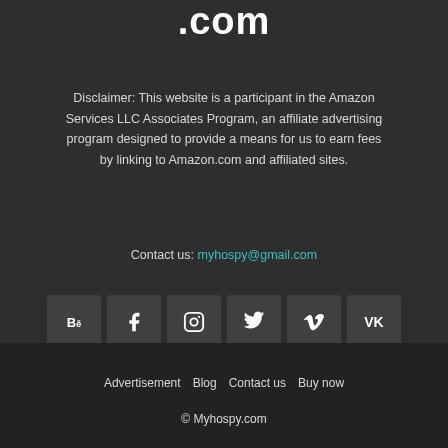.com
Disclaimer: This website is a participant in the Amazon Services LLC Associates Program, an affiliate advertising program designed to provide a means for us to earn fees by linking to Amazon.com and affiliated sites.
Contact us: myhospy@gmail.com
[Figure (infographic): Row of six social media icon buttons: Behance, Facebook, Instagram, Twitter, Vimeo, VK]
Advertisement   Blog   Contact us   Buy now
© Myhospy.com